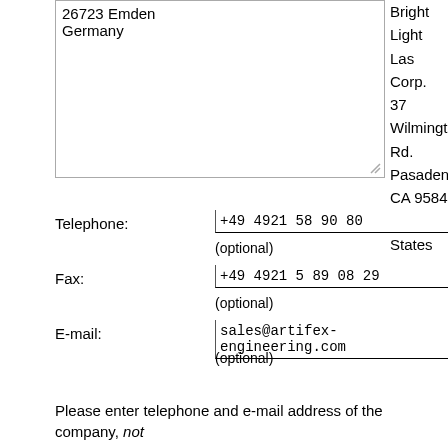26723 Emden
Germany
Bright Light Las Corp. 37 Wilmington Rd. Pasadena CA 95845 United States
Telephone:
+49 4921 58 90 80
(optional)
Fax:
+49 4921 5 89 08 29
(optional)
E-mail:
sales@artifex-engineering.com
(optional)
Please enter telephone and e-mail address of the company, not